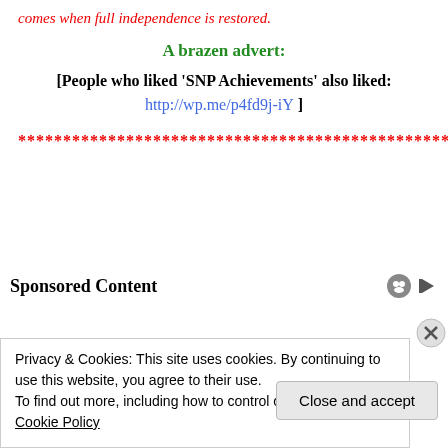comes when full independence is restored.
A brazen advert:
[People who liked 'SNP Achievements' also liked: http://wp.me/p4fd9j-iY ]
****************************************************
Sponsored Content
Privacy & Cookies: This site uses cookies. By continuing to use this website, you agree to their use.
To find out more, including how to control cookies, see here: Cookie Policy